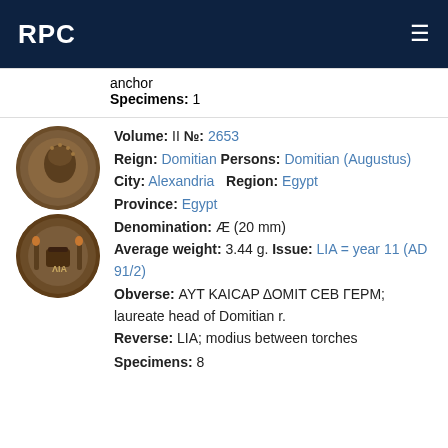RPC
anchor
Specimens: 1
Volume: II №: 2653
Reign: Domitian Persons: Domitian (Augustus)
City: Alexandria Region: Egypt
Province: Egypt
Denomination: Æ (20 mm)
Average weight: 3.44 g. Issue: LIA = year 11 (AD 91/2)
Obverse: ΑΥΤ ΚΑΙCΑΡ ΔΟΜΙΤ CΕΒ ΓΕΡΜ; laureate head of Domitian r.
Reverse: LIA; modius between torches
Specimens: 8